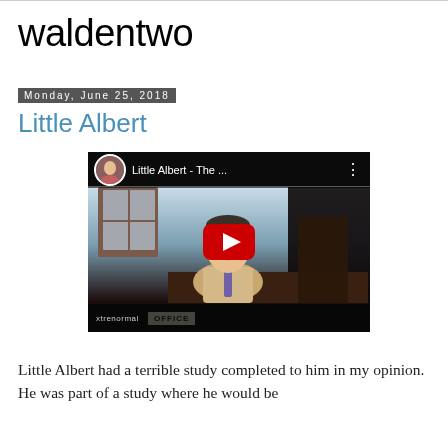waldentwo
Monday, June 25, 2018
Little Albert
[Figure (screenshot): YouTube video thumbnail showing an animated scene titled 'Little Albert - The ...' with a play button overlay. Features a cartoon man in a suit at an office desk, with a YouTube avatar in the top left corner. An 'OFFICE' sign is visible at the bottom.]
Little Albert had a terrible study completed to him in my opinion. He was part of a study where he would be